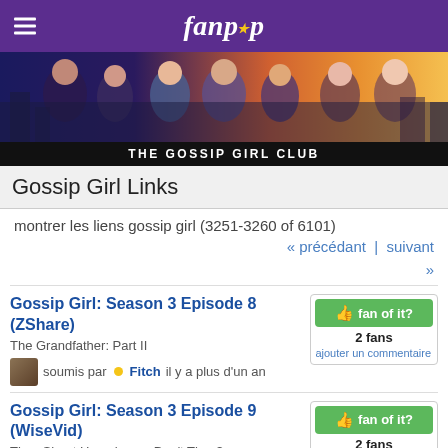fanpop
[Figure (photo): Gossip Girl cast banner photo with city skyline background]
THE GOSSIP GIRL CLUB
Gossip Girl Links
montrer les liens gossip girl (3251-3260 of 6101)
« précédant  |  suivant »
Gossip Girl: Season 3 Episode 8 (ZShare)
The Grandfather: Part II
soumis par Fitch il y a plus d'un an
2 fans
ajouter un commentaire
Gossip Girl: Season 3 Episode 9 (WiseVid)
They Shoot Humphreys, Don't They?
soumis par Fitch il y a plus d'un an
2 fans
ajouter un commentaire
Gossip Girl: Season 3 Episode 9